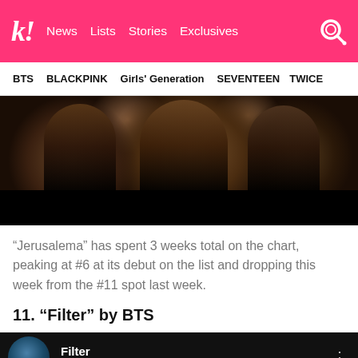k! News Lists Stories Exclusives
BTS BLACKPINK Girls' Generation SEVENTEEN TWICE
[Figure (photo): Dark photo of group of people making hand gestures, lower portion is solid black]
“Jerusalema” has spent 3 weeks total on the chart, peaking at #6 at its debut on the list and dropping this week from the #11 spot last week.
11. “Filter” by BTS
[Figure (screenshot): YouTube music player showing 'Filter' by BTS - Map of the Soul: 7 album, dark background with circle thumbnail]